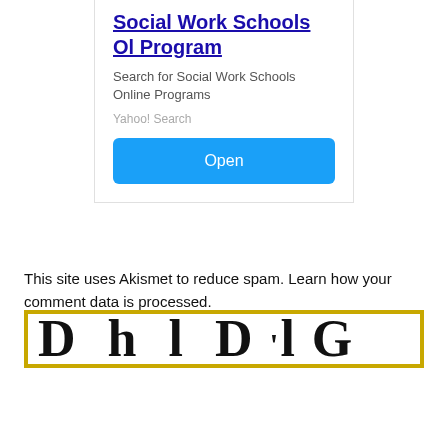[Figure (screenshot): Advertisement card for Social Work Schools Online Program with Yahoo! Search source and blue Open button]
This site uses Akismet to reduce spam. Learn how your comment data is processed.
[Figure (screenshot): Partially visible bottom banner with gold/yellow border and large bold serif text, partially cropped]